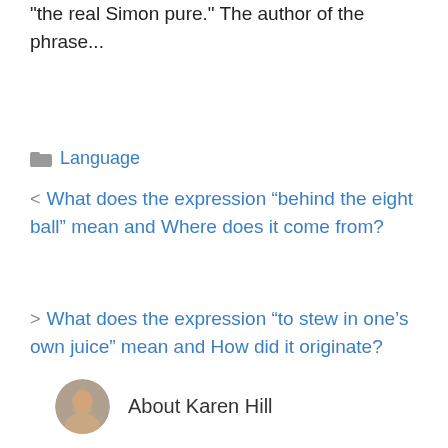"the real Simon pure." The author of the phrase...
Language
< What does the expression “behind the eight ball” mean and Where does it come from?
> What does the expression “to stew in one’s own juice” mean and How did it originate?
About Karen Hill